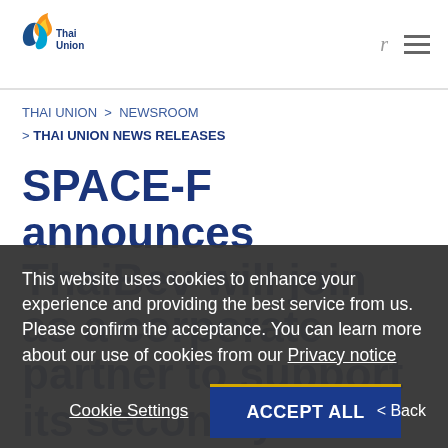[Figure (logo): Thai Union logo with flame/leaf shapes in orange, yellow, blue and company name 'Thai Union']
THAI UNION > NEWSROOM > THAI UNION NEWS RELEASES
SPACE-F announces ThaiBev will join as a corporate partner to support its second year of operations
This website uses cookies to enhance your experience and providing the best service from us. Please confirm the acceptance. You can learn more about our use of cookies from our Privacy notice
Cookie Settings   ACCEPT ALL   < Back